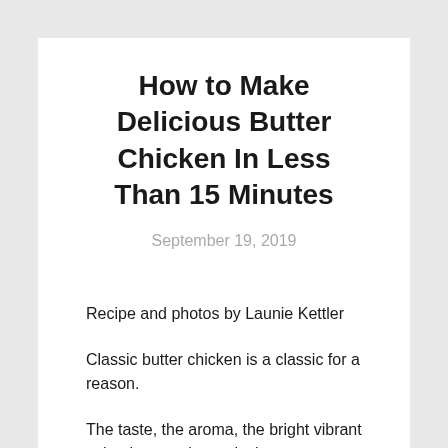How to Make Delicious Butter Chicken In Less Than 15 Minutes
September 19, 2019
Recipe and photos by Launie Kettler
Classic butter chicken is a classic for a reason.
The taste, the aroma, the bright vibrant color that nearly masks its creamy texture is always a joy to